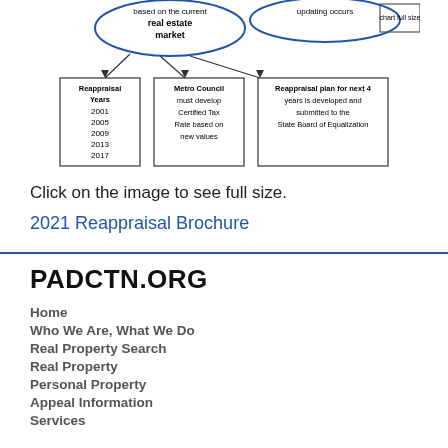[Figure (flowchart): Partial reappraisal process flowchart showing real estate market basis, reappraisal years (2001, 2005, 2009, 2013, 2017), Metro Council certified tax rate development, and reappraisal plan submission to State Board of Equalization]
Click on the image to see full size.
2021 Reappraisal Brochure
PADCTN.ORG
Home
Who We Are, What We Do
Real Property Search
Real Property
Personal Property
Appeal Information
Services